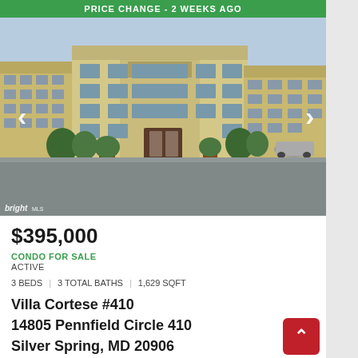PRICE CHANGE - 2 WEEKS AGO
[Figure (photo): Exterior photo of a multi-story yellow condominium building named Villa Cortese, with green shrubs and parking area in front, navigation arrows on left and right, and bright MLS watermark at bottom left.]
$395,000
CONDO FOR SALE
ACTIVE
3 BEDS | 3 TOTAL BATHS | 1,629 SQFT
Villa Cortese #410
14805 Pennfield Circle 410
Silver Spring, MD 20906